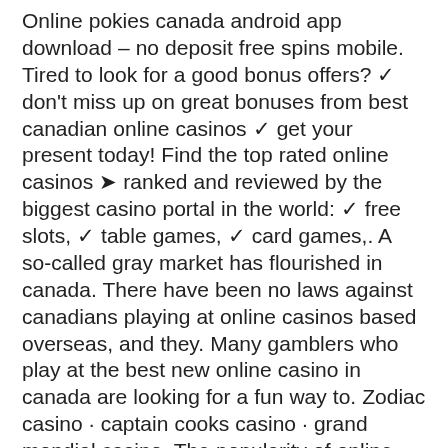Online pokies canada android app download – no deposit free spins mobile. Tired to look for a good bonus offers? ✓ don't miss up on great bonuses from best canadian online casinos ✓ get your present today! Find the top rated online casinos ➤ ranked and reviewed by the biggest casino portal in the world: ✓ free slots, ✓ table games, ✓ card games,. A so-called gray market has flourished in canada. There have been no laws against canadians playing at online casinos based overseas, and they. Many gamblers who play at the best new online casino in canada are looking for a fun way to. Zodiac casino · captain cooks casino · grand mondial casino. The popularity of online gambling in canada is rising as many casinos allow canadian players to join and play. Here's how popular online. Reviews from reputable sites there are just as many casino review